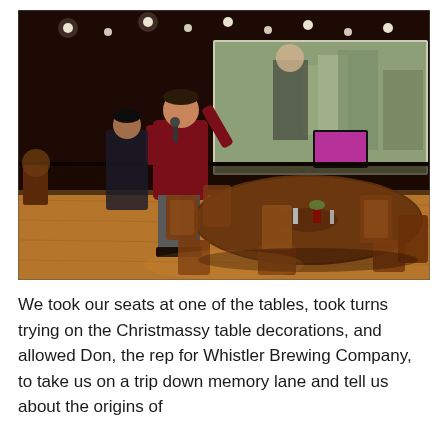[Figure (photo): Indoor event venue photo: a man in a dark red sweater stands speaking into a microphone in a restaurant/bar setting. Behind him is a large projection screen showing a person in what appears to be a brewery. Wooden round tables with chairs are visible in the foreground. The room has warm wood floors, dark walls, and recessed ceiling lights.]
We took our seats at one of the tables, took turns trying on the Christmassy table decorations, and allowed Don, the rep for Whistler Brewing Company, to take us on a trip down memory lane and tell us about the origins of